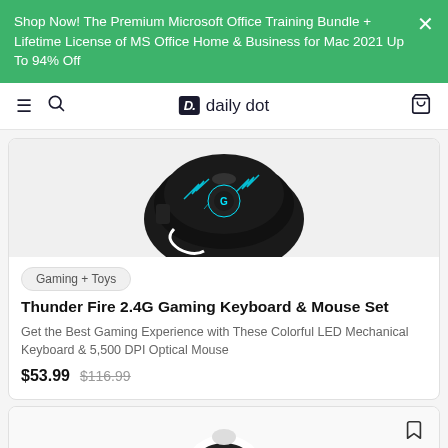Shop Now! The Premium Microsoft Office Training Bundle + Lifetime License of MS Office Home & Business for Mac 2021 Up To 94% Off
daily dot
[Figure (photo): Partial top view of a black gaming mouse with blue/cyan lightning bolt design and glowing elements on dark surface]
Gaming + Toys
Thunder Fire 2.4G Gaming Keyboard & Mouse Set
Get the Best Gaming Experience with These Colorful LED Mechanical Keyboard & 5,500 DPI Optical Mouse
$53.99  $116.99
[Figure (photo): Partial view of a white robot toy with blue glowing eyes and a smile, with blue-tipped arms visible at bottom]